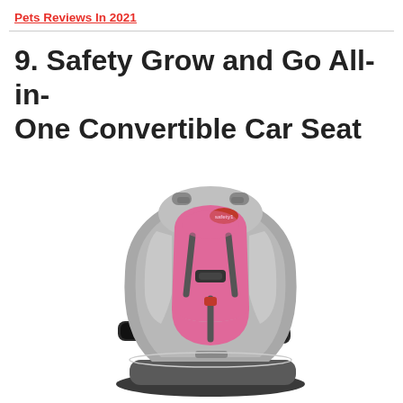Pets Reviews In 2021
9. Safety Grow and Go All-in-One Convertible Car Seat
[Figure (photo): A Safety 1st Grow and Go All-in-One Convertible Car Seat in gray and pink. The seat has a rounded shell in gray fabric, pink padding on the seat back and bottom, a 5-point harness system with a chest clip, two cup holders on the sides, and a recline base.]